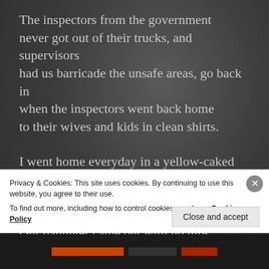The inspectors from the government never got out of their trucks, and supervisors had us barricade the unsafe areas, go back in when the inspectors went back home to their wives and kids in clean shirts.
I went home everyday in a yellow-caked shirt. My wife threw it in with the rest of the laundry. Our daughter came out with no hips...
And it's 50 years later, and we won the Cold War,
Privacy & Cookies: This site uses cookies. By continuing to use this website, you agree to their use.
To find out more, including how to control cookies, see here: Cookie Policy